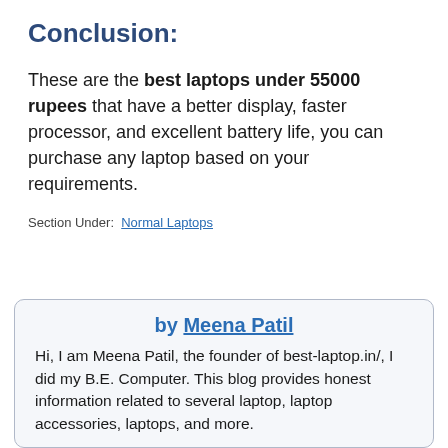Conclusion:
These are the best laptops under 55000 rupees that have a better display, faster processor, and excellent battery life, you can purchase any laptop based on your requirements.
Section Under: Normal Laptops
by Meena Patil
Hi, I am Meena Patil, the founder of best-laptop.in/, I did my B.E. Computer. This blog provides honest information related to several laptop, laptop accessories, laptops, and more.